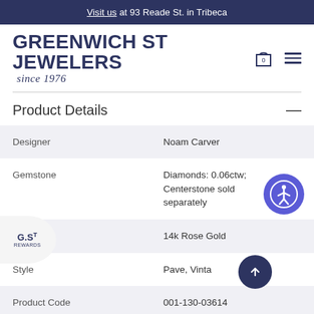Visit us at 93 Reade St. in Tribeca
[Figure (logo): Greenwich St Jewelers logo with 'since 1976' tagline]
Product Details
|  |  |
| --- | --- |
| Designer | Noam Carver |
| Gemstone | Diamonds: 0.06ctw; Centerstone sold separately |
| Material | 14k Rose Gold |
| Style | Pave, Vintage |
| Product Code | 001-130-03614 |